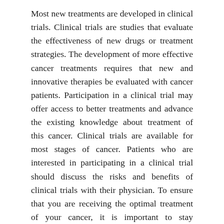Most new treatments are developed in clinical trials. Clinical trials are studies that evaluate the effectiveness of new drugs or treatment strategies. The development of more effective cancer treatments requires that new and innovative therapies be evaluated with cancer patients. Participation in a clinical trial may offer access to better treatments and advance the existing knowledge about treatment of this cancer. Clinical trials are available for most stages of cancer. Patients who are interested in participating in a clinical trial should discuss the risks and benefits of clinical trials with their physician. To ensure that you are receiving the optimal treatment of your cancer, it is important to stay informed and follow the cancer news in order to learn about new treatments and the results of clinical trials.
From long-term retrospective studies, it is estimated that approximately 25% of patients with LCIS will develop invasive breast cancer within 25 years of diagnosis. Thus, this diagnosis is being used to identify patients at high risk of subsequently developing invasive breast cancer. Current